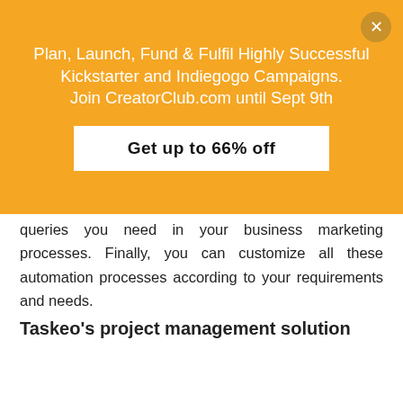[Figure (infographic): Orange promotional banner with white text and a white CTA button reading 'Get up to 66% off'. Top-right has a circular close button with X. Text reads: Plan, Launch, Fund & Fulfil Highly Successful Kickstarter and Indiegogo Campaigns. Join CreatorClub.com until Sept 9th]
queries you need in your business marketing processes. Finally, you can customize all these automation processes according to your requirements and needs.
Taskeo's project management solution
[Figure (infographic): Dark purple/maroon banner at the bottom with a book cover on the left and bold text: GET THE NEW VERSION OF "CROWDFUNG SECRETS" in white and blue.]